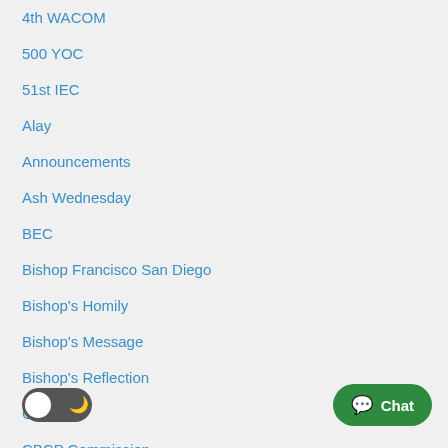4th WACOM
500 YOC
51st IEC
Alay
Announcements
Ash Wednesday
BEC
Bishop Francisco San Diego
Bishop's Homily
Bishop's Message
Bishop's Reflection
Calendar
CBCP Commission
CBCP News